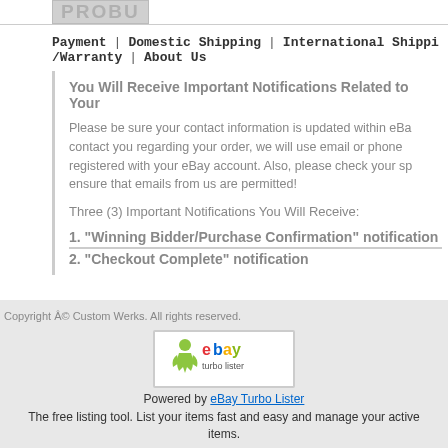[Figure (logo): Partial PROBU or similar brand logo text in grey]
Payment | Domestic Shipping | International Shipping /Warranty | About Us
You Will Receive Important Notifications Related to Your
Please be sure your contact information is updated within eBay. To contact you regarding your order, we will use email or phone registered with your eBay account. Also, please check your spam to ensure that emails from us are permitted!
Three (3) Important Notifications You Will Receive:
1. "Winning Bidder/Purchase Confirmation" notification
Copyright © Custom Werks. All rights reserved.
[Figure (logo): eBay Turbo Lister logo]
Powered by eBay Turbo Lister
The free listing tool. List your items fast and easy and manage your active items.